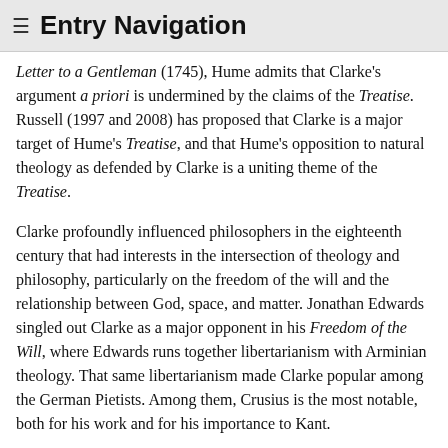≡ Entry Navigation
…Letter to a Gentleman (1745), Hume admits that Clarke's argument a priori is undermined by the claims of the Treatise. Russell (1997 and 2008) has proposed that Clarke is a major target of Hume's Treatise, and that Hume's opposition to natural theology as defended by Clarke is a uniting theme of the Treatise.
Clarke profoundly influenced philosophers in the eighteenth century that had interests in the intersection of theology and philosophy, particularly on the freedom of the will and the relationship between God, space, and matter. Jonathan Edwards singled out Clarke as a major opponent in his Freedom of the Will, where Edwards runs together libertarianism with Arminian theology. That same libertarianism made Clarke popular among the German Pietists. Among them, Crusius is the most notable, both for his work and for his importance to Kant.
By the nineteenth century interest in and appreciation of Clarke had waned. Representatively, Leslie Stephen (1881, 119) claimed that…